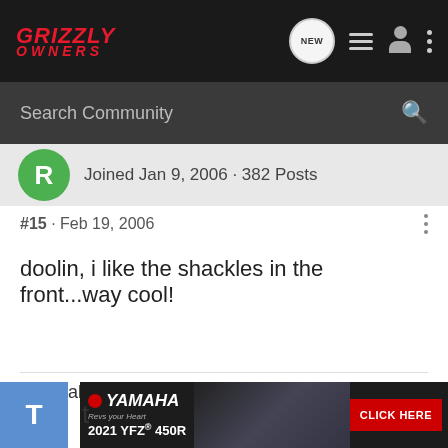Grizzly Owners
Search Community
Joined Jan 9, 2006 · 382 Posts
#15 · Feb 19, 2006
doolin, i like the shackles in the front...way cool!
they call me Mista Nizzzzzzzzzzzzzzz[/b]
[Figure (screenshot): Yamaha 2021 YFZ 450R advertisement banner with CLICK HERE button]